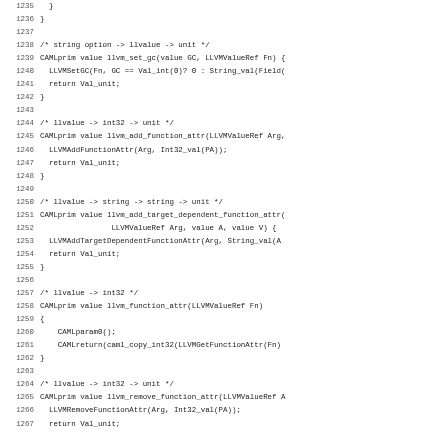Source code listing lines 1235-1267, C code with LLVM bindings for OCaml/C functions including llvm_set_gc, llvm_add_function_attr, llvm_add_target_dependent_function_attr, llvm_function_attr, llvm_remove_function_attr